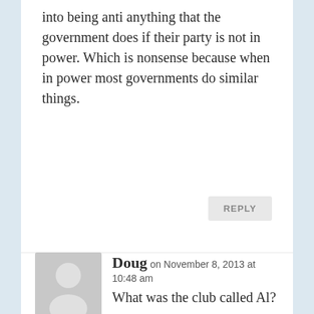into being anti anything that the government does if their party is not in power. Which is nonsense because when in power most governments do similar things.
REPLY
[Figure (illustration): Generic user avatar icon: grey silhouette of a person on a light grey square background]
Doug on November 8, 2013 at 10:48 am
What was the club called Al?
REPLY